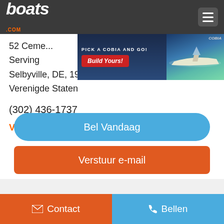boats.com
[Figure (screenshot): Advertisement banner: PICK A COBIA AND GO! with Build Yours! button and boat image]
52 Ceme...
Serving ...rea
Selbyville, DE, 19975
Verenigde Staten
(302) 436-1737
Verkopers botenlijst bekijken
Bel Vandaag
Verstuur e-mail
Contact
Bellen